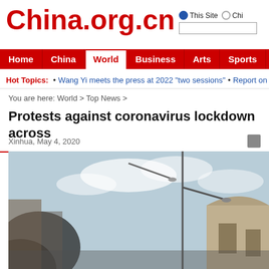China.org.cn
This Site  Chi...
Home | China | World | Business | Arts | Sports | Travel | Opinio...
Hot Topics: • Wang Yi meets the press at 2022 "two sessions" • Report on Human...
You are here: World > Top News >
Protests against coronavirus lockdown across
Xinhua, May 4, 2020
[Figure (photo): Street scene with streetlights and buildings, sky with clouds, viewed through a vehicle window]